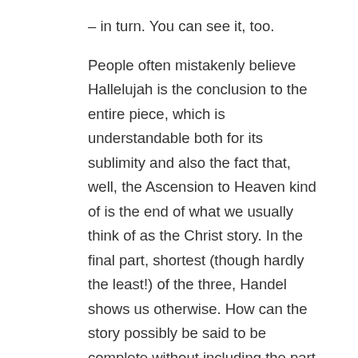– in turn. You can see it, too.
People often mistakenly believe Hallelujah is the conclusion to the entire piece, which is understandable both for its sublimity and also the fact that, well, the Ascension to Heaven kind of is the end of what we usually think of as the Christ story. In the final part, shortest (though hardly the least!) of the three, Handel shows us otherwise. How can the story possibly be said to be complete without including the part where we the saved can now actually do something with the light that has come down to us in our moment of deepest despair.
This is the time for the soprano soloist to shine, starting with the opener, "I Know That My Redeemer Liveth" – which is indeed the starting point for the